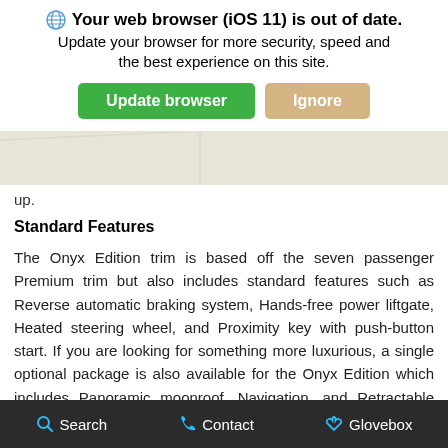[Figure (screenshot): Browser update warning banner overlaid on a map background. Title: 'Your web browser (iOS 11) is out of date.' Subtitle: 'Update your browser for more security, speed and the best experience on this site.' Two buttons: green 'Update browser' and tan/gold 'Ignore'.]
up.
Standard Features
The Onyx Edition trim is based off the seven passenger Premium trim but also includes standard features such as Reverse automatic braking system, Hands-free power liftgate, Heated steering wheel, and Proximity key with push-button start. If you are looking for something more luxurious, a single optional package is also available for the Onyx Edition which includes Panoramic moonroof, Navigation, and Retractable Cargo Cover.
Design & Style
The Onyx is the perfect fit for you and your family. In terms of design, the Onyx sports a sleek black look that makes it an extremely stylish
Search   Contact   Glovebox